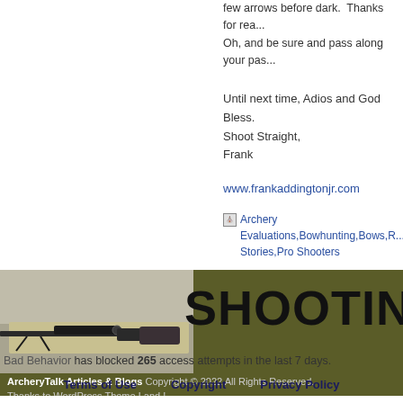few arrows before dark.  Thanks for rea...
Oh, and be sure and pass along your pas...
Until next time, Adios and God Bless.
Shoot Straight,
Frank
www.frankaddingtonjr.com
Archery Evaluations,Bowhunting,Bows,R... Stories,Pro Shooters
[Figure (screenshot): Website footer banner for ArcheryTalk Articles & Blogs showing a rifle on a mat and large text SHOOTING on an olive/dark green background]
ArcheryTalk Articles & Blogs Copyright © 2022 All Rights Reserved. Thanks to WordPress Theme Land !
Bad Behavior has blocked 265 access attempts in the last 7 days.
Terms of Use   Copyright   Privacy Policy